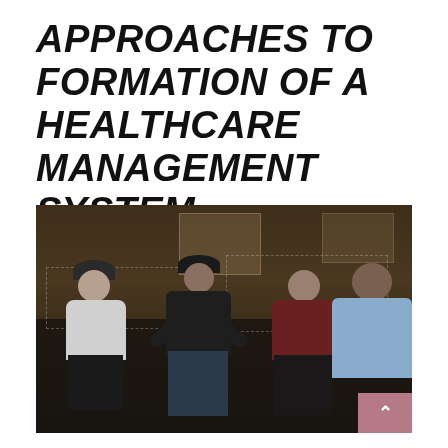APPROACHES TO FORMATION OF A HEALTHCARE MANAGEMENT SYSTEM
[Figure (photo): Group of four men seated in chairs in a dimly lit indoor space (resembling a gymnasium or community hall), arranged in a semi-circle as if in a group discussion or therapy session. The scene has dark, moody lighting with dashed rectangle markings on the floor.]